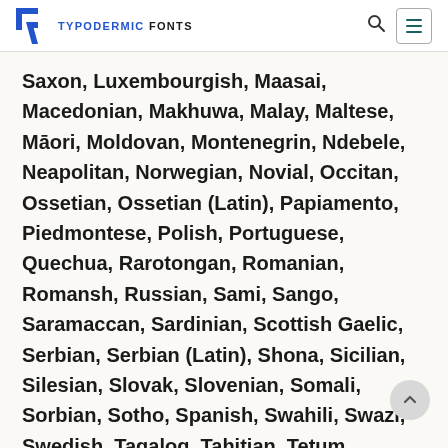TYPODERMIC FONTS
Saxon, Luxembourgish, Maasai, Macedonian, Makhuwa, Malay, Maltese, Māori, Moldovan, Montenegrin, Ndebele, Neapolitan, Norwegian, Novial, Occitan, Ossetian, Ossetian (Latin), Papiamento, Piedmontese, Polish, Portuguese, Quechua, Rarotongan, Romanian, Romansh, Russian, Sami, Sango, Saramaccan, Sardinian, Scottish Gaelic, Serbian, Serbian (Latin), Shona, Sicilian, Silesian, Slovak, Slovenian, Somali, Sorbian, Sotho, Spanish, Swahili, Swazi, Swedish, Tagalog, Tahitian, Tetum, Tongan, Tshiluba, Tsonga, Tswana, Tumbuka, Turkish, Turkmen